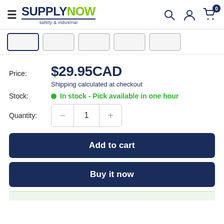SUPPLYNOW safety & industrial — navigation header with search, account, cart icons
[Figure (screenshot): Five product thumbnail image tabs below the header; first tab is active (dark border)]
Price: $29.95CAD
Shipping calculated at checkout
Stock: In stock - Pick available in one hour
Quantity: 1
Add to cart
Buy it now